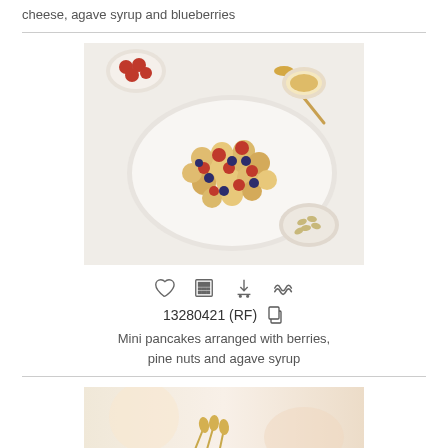cheese, agave syrup and blueberries
[Figure (photo): Mini pancakes arranged with berries, pine nuts and agave syrup on a white oval plate, viewed from above. Small bowls of raspberries, a honey dipper, and pine nuts surround the plate.]
13280421 (RF)
Mini pancakes arranged with berries, pine nuts and agave syrup
[Figure (photo): Partial view of another food photograph, warm tones, appears to show a drink or food item with light background.]